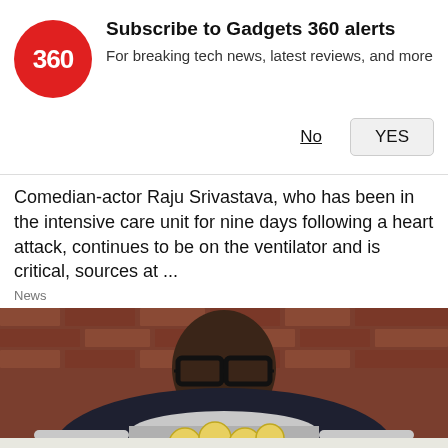[Figure (screenshot): Gadgets 360 notification banner with red circular logo showing '360', bold text 'Subscribe to Gadgets 360 alerts', subtitle 'For breaking tech news, latest reviews, and more', and two buttons: 'No' (underlined) and 'YES' (button).]
Comedian-actor Raju Srivastava, who has been in the intensive care unit for nine days following a heart attack, continues to be on the ventilator and is critical, sources at ...
News
[Figure (photo): A man wearing large black-framed glasses and a dark patterned shirt, holding a stainless steel pot filled with lemon slices, photographed against a brick wall background.]